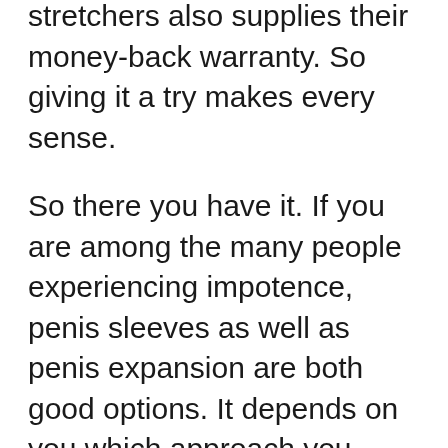stretchers also supplies their money-back warranty. So giving it a try makes every sense.
So there you have it. If you are among the many people experiencing impotence, penis sleeves as well as penis expansion are both good options. It depends on you which approach you pick. Just make certain you do your study and pick a method that helps you!
It prevails for a man to want his penis to be larger. However, the problem is that it is not uncommon for men to be average or tiny in size when it comes to penis augmentation. For these guys, research has actually confirmed that most guys that worry